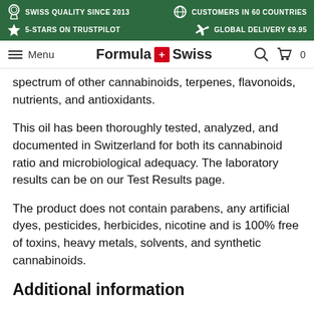SWISS QUALITY SINCE 2013 | 5-STARS ON TRUSTPILOT | CUSTOMERS IN 60 COUNTRIES | GLOBAL DELIVERY €9.95
Menu | Formula Swiss | 🔍 | 🛒 0
spectrum of other cannabinoids, terpenes, flavonoids, nutrients, and antioxidants.
This oil has been thoroughly tested, analyzed, and documented in Switzerland for both its cannabinoid ratio and microbiological adequacy. The laboratory results can be on our Test Results page.
The product does not contain parabens, any artificial dyes, pesticides, herbicides, nicotine and is 100% free of toxins, heavy metals, solvents, and synthetic cannabinoids.
Additional information